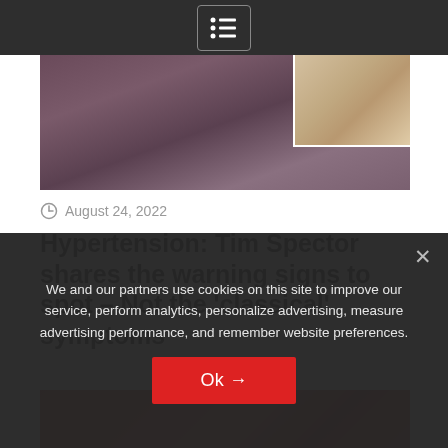Navigation menu icon
[Figure (photo): Photo showing a person from the shoulders up, with a smaller inset photo in the upper right corner showing another person or scene with warm tones.]
August 24, 2022
Hypertension: Tim Spector shares the warning signs to spot – Not the 'classical' symptoms
[Figure (photo): Partial photo with red/warm tones, partially obscured by cookie consent overlay.]
We and our partners use cookies on this site to improve our service, perform analytics, personalize advertising, measure advertising performance, and remember website preferences.
Ok →